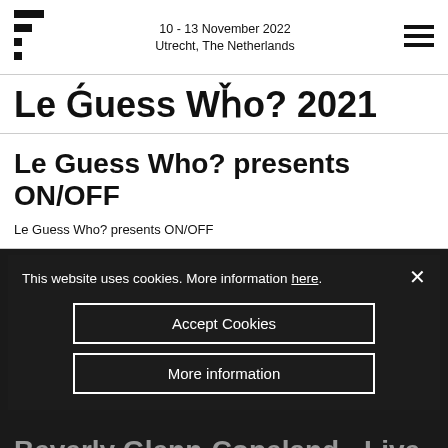10 - 13 November 2022
Utrecht, The Netherlands
Le Ǵuess Wȟo? 2021
Le Guess Who? presents ON/OFF
Le Guess Who? presents ON/OFF
Eddie Chacon - Live at Le Guess Who? 2021
This website uses cookies. More information here.
Accept Cookies
More information
Beverly Glenn-Copeland - Live at Le Guess Who?